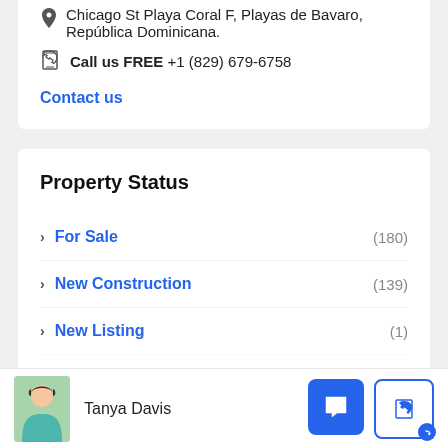Chicago St Playa Coral F, Playas de Bavaro, República Dominicana.
Call us FREE +1 (829) 679-6758
Contact us
Property Status
For Sale (180)
New Construction (139)
New Listing (1)
Resale (17)
Tanya Davis